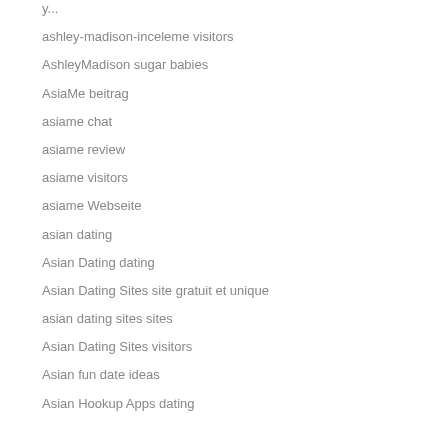ashley-madison-inceleme visitors
AshleyMadison sugar babies
AsiaMe beitrag
asiame chat
asiame review
asiame visitors
asiame Webseite
asian dating
Asian Dating dating
Asian Dating Sites site gratuit et unique
asian dating sites sites
Asian Dating Sites visitors
Asian fun date ideas
Asian Hookup Apps dating